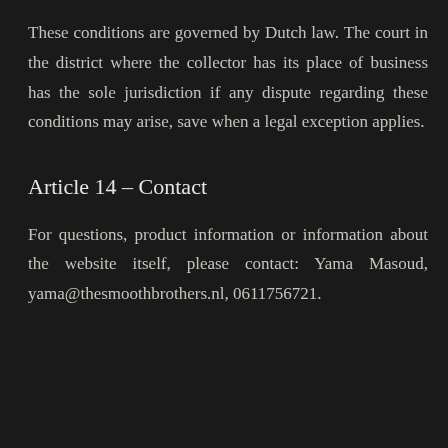These conditions are governed by Dutch law. The court in the district where the collector has its place of business has the sole jurisdiction if any dispute regarding these conditions may arise, save when a legal exception applies.
Article 14 – Contact
For questions, product information or information about the website itself, please contact: Yama Masoud, yama@thesmoothbrothers.nl, 0611756721.